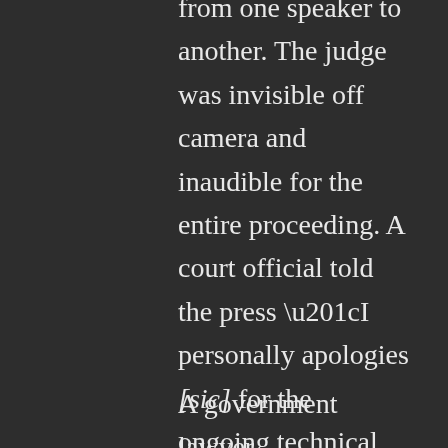from one speaker to another. The judge was invisible off camera and inaudible for the entire proceeding. A court official told the press “I personally apologies [sic] for the ongoing technical issues…The Cloud video platform equipment was tested beforehand and all was thought to be well. However there have been ongoing issues with equipment today.”
A government lawyer acknowledged that the